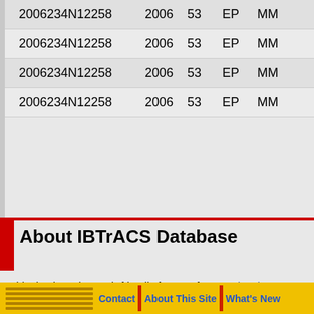| SID | SEASON | NUMBER | BASIN | SUBBASIN |
| --- | --- | --- | --- | --- |
| 2006234N12258 | 2006 | 53 | EP | MM |
| 2006234N12258 | 2006 | 53 | EP | MM |
| 2006234N12258 | 2006 | 53 | EP | MM |
| 2006234N12258 | 2006 | 53 | EP | MM |
About IBTrACS Database
This database is a web-friendly format of International Best Track Archive for Climate Stewardship (IBTrACS), a global best track data archive curated by NOAA dating back to 1842.
Updated: 2022-08-26
Contact | About This Site | What's New